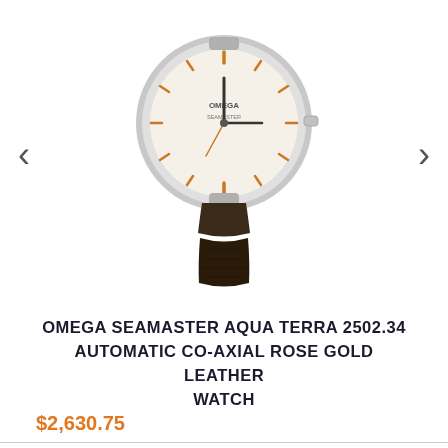[Figure (photo): Photo of an Omega Seamaster Aqua Terra watch with white dial, rose gold indices, and dark brown leather strap, displayed on white background with left and right navigation arrows]
OMEGA SEAMASTER AQUA TERRA 2502.34 AUTOMATIC CO-AXIAL ROSE GOLD LEATHER WATCH
$2,630.75
[Figure (logo): Quartz Watches logo with orange clock icon and orange text reading 'Quartz Watches', plus orange circular button with white upward arrow]